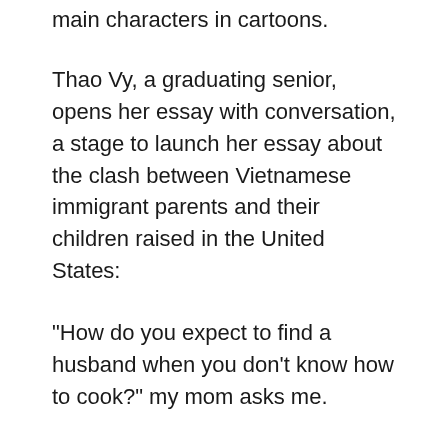main characters in cartoons.
Thao Vy, a graduating senior, opens her essay with conversation, a stage to launch her essay about the clash between Vietnamese immigrant parents and their children raised in the United States:
“How do you expect to find a husband when you don’t know how to cook?” my mom asks me.
“I’ll marry somebody who knows how to cook.”